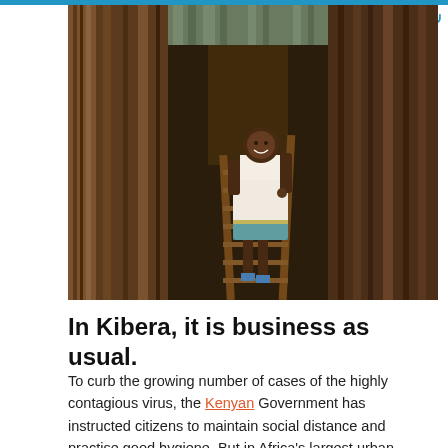[Figure (photo): A young girl in a white floral dress and blue sandals stands on a wooden ladder/staircase between narrow wooden walls in Kibera slum. She is smiling at the camera. The narrow alley is flanked by wooden and corrugated metal walls.]
In Kibera, it is business as usual.
To curb the growing number of cases of the highly contagious virus, the Kenyan Government has instructed citizens to maintain social distance and practise good hygiene. But in Africa's largest urban slum